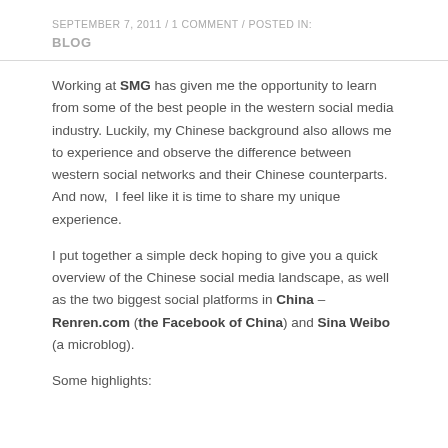SEPTEMBER 7, 2011 / 1 COMMENT / POSTED IN: BLOG
Working at SMG has given me the opportunity to learn from some of the best people in the western social media industry. Luckily, my Chinese background also allows me to experience and observe the difference between western social networks and their Chinese counterparts. And now, I feel like it is time to share my unique experience.
I put together a simple deck hoping to give you a quick overview of the Chinese social media landscape, as well as the two biggest social platforms in China – Renren.com (the Facebook of China) and Sina Weibo (a microblog).
Some highlights: